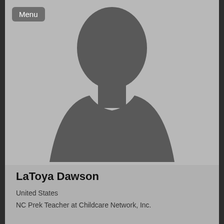[Figure (photo): Default silhouette profile photo placeholder — grey background with dark grey human head and shoulders outline]
LaToya Dawson
United States
NC Prek Teacher at Childcare Network, Inc.